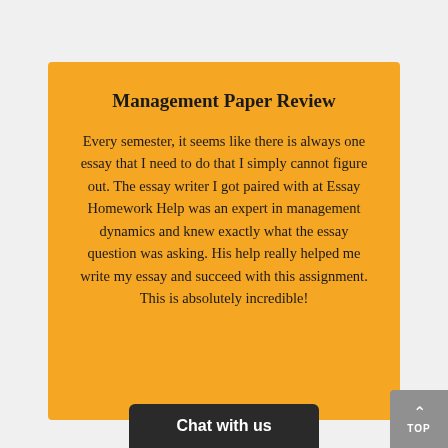Management Paper Review
Every semester, it seems like there is always one essay that I need to do that I simply cannot figure out. The essay writer I got paired with at Essay Homework Help was an expert in management dynamics and knew exactly what the essay question was asking. His help really helped me write my essay and succeed with this assignment. This is absolutely incredible!
Chat with us